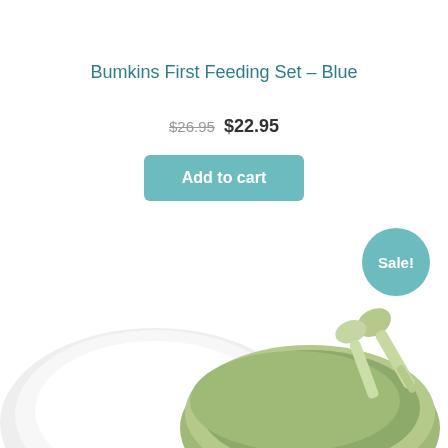Bumkins First Feeding Set – Blue
$26.95 $22.95
Add to cart
Sale!
[Figure (photo): Silicone baby feeding bowl set with spoon in light green/sage color and a white plate, photographed from above at slight angle, cropped at bottom of page]